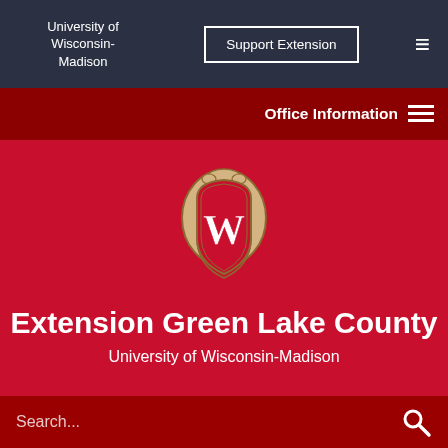University of Wisconsin-Madison
Support Extension
Office Information
[Figure (logo): University of Wisconsin-Madison crest/shield logo — a gold crest outline with a red field and a white W in the center]
Extension Green Lake County
University of Wisconsin-Madison
Search...